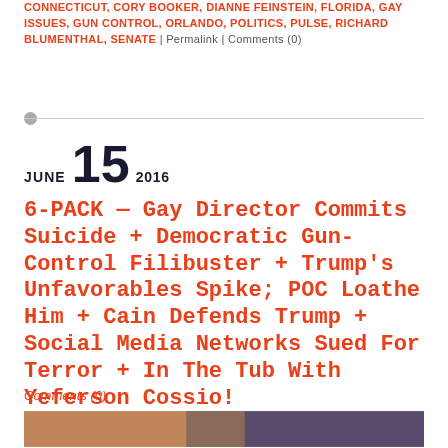CONNECTICUT, CORY BOOKER, DIANNE FEINSTEIN, FLORIDA, GAY ISSUES, GUN CONTROL, ORLANDO, POLITICS, PULSE, RICHARD BLUMENTHAL, SENATE | Permalink | Comments (0)
JUNE 15 2016
6-PACK — Gay Director Commits Suicide + Democratic Gun-Control Filibuster + Trump's Unfavorables Spike; POC Loathe Him + Cain Defends Trump + Social Media Networks Sued For Terror + In The Tub With Yeferson Cossio!
Comments (0)
[Figure (photo): Two-panel photo strip: left panel shows a man's face with warm reddish lighting; right panel shows a movie poster or promotional image with silhouetted figures against a purple background with text overlays.]